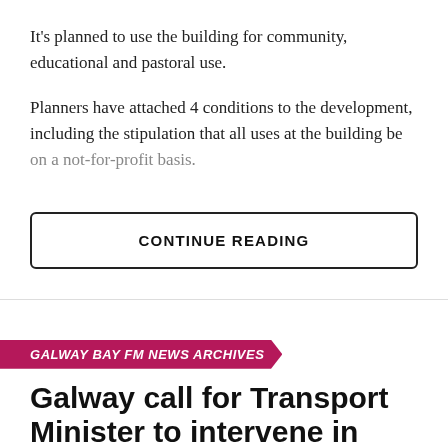It's planned to use the building for community, educational and pastoral use.
Planners have attached 4 conditions to the development, including the stipulation that all uses at the building be on a not-for-profit basis.
CONTINUE READING
GALWAY BAY FM NEWS ARCHIVES
Galway call for Transport Minister to intervene in bus strike